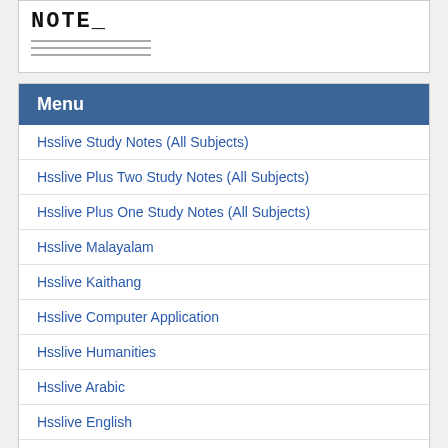[Figure (illustration): NOTE_ heading with horizontal lines below it, resembling a notepad graphic]
Menu
Hsslive Study Notes (All Subjects)
Hsslive Plus Two Study Notes (All Subjects)
Hsslive Plus One Study Notes (All Subjects)
Hsslive Malayalam
Hsslive Kaithang
Hsslive Computer Application
Hsslive Humanities
Hsslive Arabic
Hsslive English
Hsslive Business Studies Notes
Hsslive Accountancy